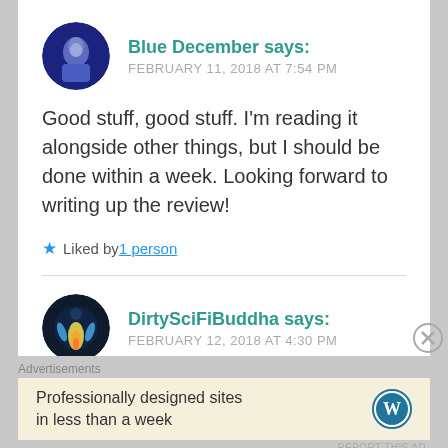Blue December says: FEBRUARY 11, 2018 AT 7:54 PM
Good stuff, good stuff. I'm reading it alongside other things, but I should be done within a week. Looking forward to writing up the review!
Liked by 1 person
DirtySciFiBuddha says: FEBRUARY 12, 2018 AT 4:30 PM
Advertisements
Professionally designed sites in less than a week